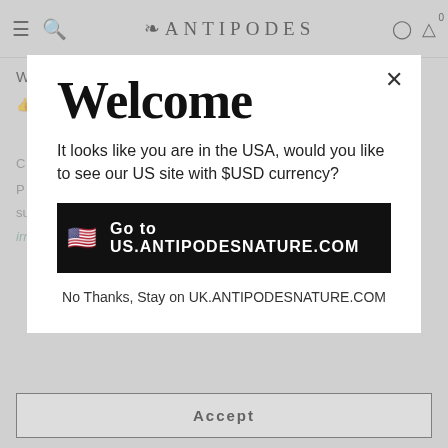Antipodes
Was this helpful?
Yes (0)   No (0)   Report this review
Welcome
It looks like you are in the USA, would you like to see our US site with $USD currency?
Go to US.ANTIPODESNATURE.COM
No Thanks, Stay on UK.ANTIPODESNATURE.COM
such partner is Google. For more information see our cookie policy.
Accept